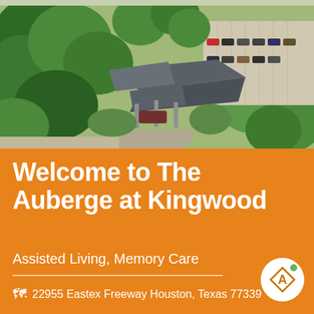[Figure (photo): Aerial drone photograph of The Auberge at Kingwood assisted living facility surrounded by green trees, showing the building rooftop, entrance canopy, parking lot, and surrounding landscape]
Welcome to The Auberge at Kingwood
Assisted Living, Memory Care
[Figure (logo): Auberge company logo: diamond/rhombus shape with letter A inside, small green dot in upper right, on white circular background]
22955 Eastex Freeway Houston, Texas 77339